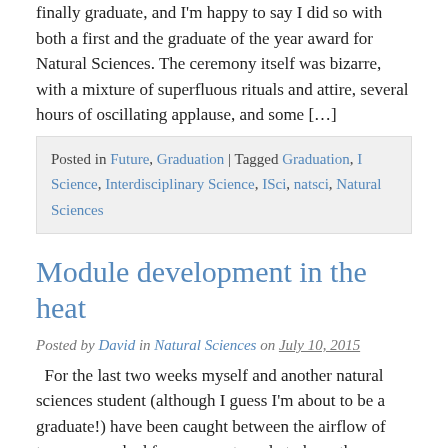finally graduate, and I'm happy to say I did so with both a first and the graduate of the year award for Natural Sciences. The ceremony itself was bizarre, with a mixture of superfluous rituals and attire, several hours of oscillating applause, and some […]
Posted in Future, Graduation | Tagged Graduation, I Science, Interdisciplinary Science, ISci, natsci, Natural Sciences
Module development in the heat
Posted by David in Natural Sciences on July 10, 2015
For the last two weeks myself and another natural sciences student (although I guess I'm about to be a graduate!) have been caught between the airflow of two overworked fans as we struggle to keep the physics lab at a bearable temperature. Over the course of July we've been tasked with designing modules for […]
Posted in Work | Tagged Arduino, | Science